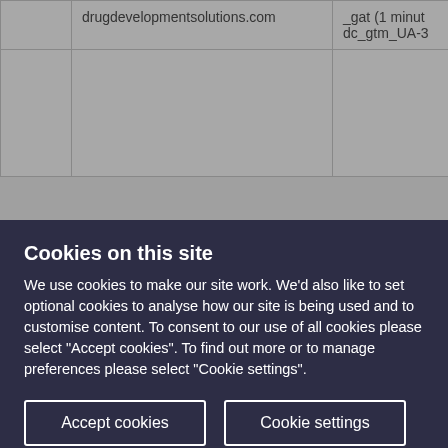|  | drugdevelopmentsolutions.com | _gat (1 minut dc_gtm_UA-3 |
|  |  |  |
Cookies on this site
We use cookies to make our site work. We'd also like to set optional cookies to analyse how our site is being used and to customise content. To consent to our use of all cookies please select "Accept cookies". To find out more or to manage preferences please select "Cookie settings".